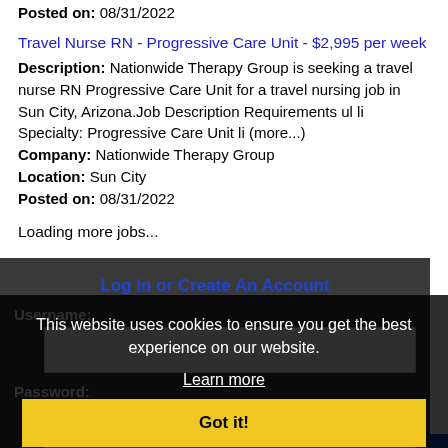Posted on: 08/31/2022
Travel Nurse RN - Progressive Care Unit - $2,995 per week
Description: Nationwide Therapy Group is seeking a travel nurse RN Progressive Care Unit for a travel nursing job in Sun City, Arizona.Job Description Requirements ul li Specialty: Progressive Care Unit li (more...)
Company: Nationwide Therapy Group
Location: Sun City
Posted on: 08/31/2022
Loading more jobs...
Log In or Create An Account
This website uses cookies to ensure you get the best experience on our website.
Learn more
Username:
Password:
Got it!